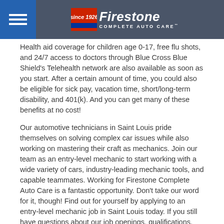Firestone Complete Auto Care
Health aid coverage for children age 0-17, free flu shots, and 24/7 access to doctors through Blue Cross Blue Shield's Telehealth network are also available as soon as you start. After a certain amount of time, you could also be eligible for sick pay, vacation time, short/long-term disability, and 401(k). And you can get many of these benefits at no cost!
Our automotive technicians in Saint Louis pride themselves on solving complex car issues while also working on mastering their craft as mechanics. Join our team as an entry-level mechanic to start working with a wide variety of cars, industry-leading mechanic tools, and capable teammates. Working for Firestone Complete Auto Care is a fantastic opportunity. Don't take our word for it, though! Find out for yourself by applying to an entry-level mechanic job in Saint Louis today. If you still have questions about our job openings, qualifications, and benefits, give us a call at 877-734-9512.